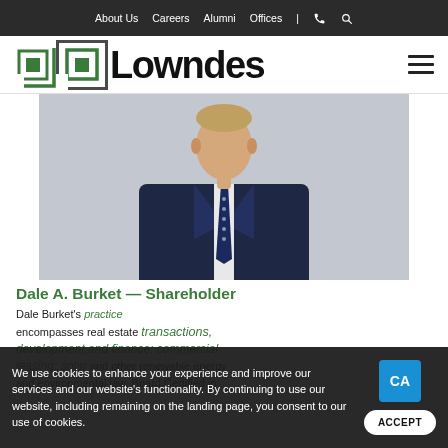About Us  Careers  Alumni  Offices  |  📞  🔍
[Figure (logo): Lowndes law firm logo with green square icon and bold black Lowndes wordmark]
[Figure (photo): Professional headshot of Dale A. Burket in dark navy suit and blue polka dot tie against grey background]
Dale A. Burket — Shareholder
Dale Burket's practice encompasses real estate transactions, development and finance; commercial leasing; solar and other renewable energy and environmental law. Board Certified in
We use cookies to enhance your experience and improve our services and our website's functionality. By continuing to use our website, including remaining on the landing page, you consent to our use of cookies.